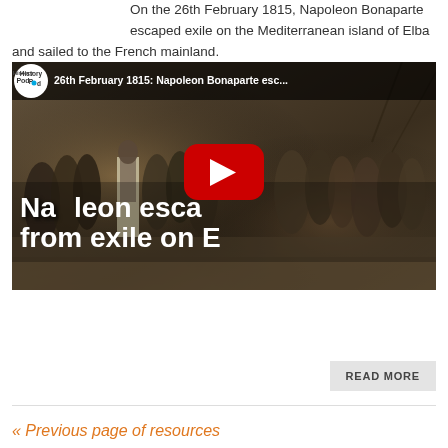On the 26th February 1815, Napoleon Bonaparte escaped exile on the Mediterranean island of Elba and sailed to the French mainland.
[Figure (screenshot): YouTube video thumbnail showing a historical painting of Napoleon Bonaparte departing from Elba. The video is titled '26th February 1815: Napoleon Bonaparte esc...' from the History Pod channel. The thumbnail shows Napoleon in white breeches and grey coat among a crowd of people on what appears to be a dock or ship. Overlaid text reads 'Napoleon esca... from exile on E...' with a YouTube play button in the center.]
READ MORE
« Previous page of resources